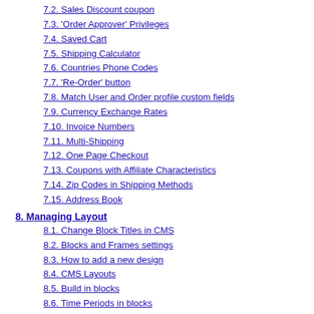7.2. Sales Discount coupon
7.3. 'Order Approver' Privileges
7.4. Saved Cart
7.5. Shipping Calculator
7.6. Countries Phone Codes
7.7. 'Re-Order' button
7.8. Match User and Order profile custom fields
7.9. Currency Exchange Rates
7.10. Invoice Numbers
7.11. Multi-Shipping
7.12. One Page Checkout
7.13. Coupons with Affiliate Characteristics
7.14. Zip Codes in Shipping Methods
7.15. Address Book
8. Managing Layout
8.1. Change Block Titles in CMS
8.2. Blocks and Frames settings
8.3. How to add a new design
8.4. CMS Layouts
8.5. Build in blocks
8.6. Time Periods in blocks
8.7. Facebook Live Feed
8.8. Table View products list
8.9. META data in CMS
8.10. Currency Converter block